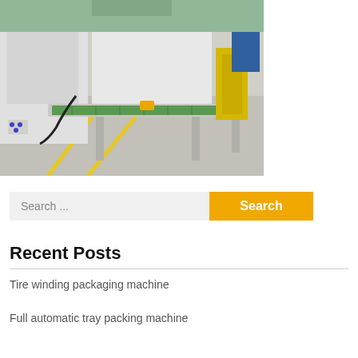[Figure (photo): Industrial factory floor showing a conveyor belt system with green belt surface, metal frame legs, connected to a large white machine with a circular opening. Yellow safety markings on the floor, yellow equipment visible in the background.]
Search ...
Search
Recent Posts
Tire winding packaging machine
Full automatic tray packing machine